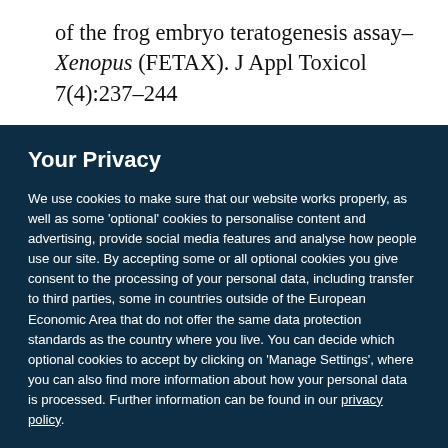of the frog embryo teratogenesis assay–Xenopus (FETAX). J Appl Toxicol 7(4):237–244
Your Privacy
We use cookies to make sure that our website works properly, as well as some 'optional' cookies to personalise content and advertising, provide social media features and analyse how people use our site. By accepting some or all optional cookies you give consent to the processing of your personal data, including transfer to third parties, some in countries outside of the European Economic Area that do not offer the same data protection standards as the country where you live. You can decide which optional cookies to accept by clicking on 'Manage Settings', where you can also find more information about how your personal data is processed. Further information can be found in our privacy policy.
Accept all cookies
Manage preferences